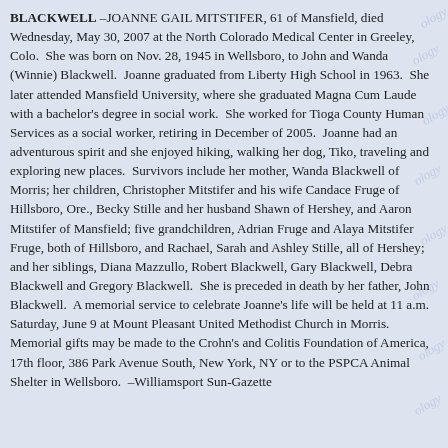BLACKWELL –JOANNE GAIL MITSTIFER, 61 of Mansfield, died Wednesday, May 30, 2007 at the North Colorado Medical Center in Greeley, Colo.  She was born on Nov. 28, 1945 in Wellsboro, to John and Wanda (Winnie) Blackwell.  Joanne graduated from Liberty High School in 1963.  She later attended Mansfield University, where she graduated Magna Cum Laude with a bachelor's degree in social work.  She worked for Tioga County Human Services as a social worker, retiring in December of 2005.  Joanne had an adventurous spirit and she enjoyed hiking, walking her dog, Tiko, traveling and exploring new places.  Survivors include her mother, Wanda Blackwell of Morris; her children, Christopher Mitstifer and his wife Candace Fruge of Hillsboro, Ore., Becky Stille and her husband Shawn of Hershey, and Aaron Mitstifer of Mansfield; five grandchildren, Adrian Fruge and Alaya Mitstifer Fruge, both of Hillsboro, and Rachael, Sarah and Ashley Stille, all of Hershey; and her siblings, Diana Mazzullo, Robert Blackwell, Gary Blackwell, Debra Blackwell and Gregory Blackwell.  She is preceded in death by her father, John Blackwell.  A memorial service to celebrate Joanne's life will be held at 11 a.m. Saturday, June 9 at Mount Pleasant United Methodist Church in Morris.  Memorial gifts may be made to the Crohn's and Colitis Foundation of America, 17th floor, 386 Park Avenue South, New York, NY or to the PSPCA Animal Shelter in Wellsboro.  –Williamsport Sun-Gazette